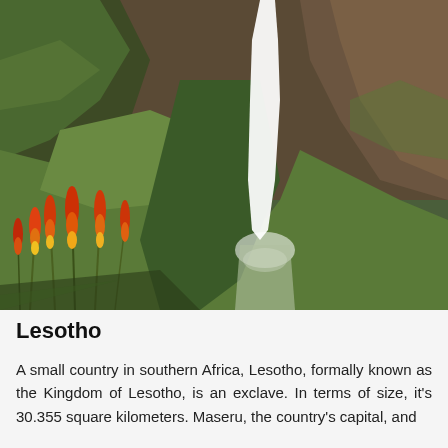[Figure (photo): Aerial view of a dramatic waterfall cascading down tall rocky cliffs surrounded by lush green mountains and hills in Lesotho, with orange and red torch lily flowers in the foreground.]
Lesotho
A small country in southern Africa, Lesotho, formally known as the Kingdom of Lesotho, is an exclave. In terms of size, it's 30.355 square kilometers. Maseru, the country's capital, and